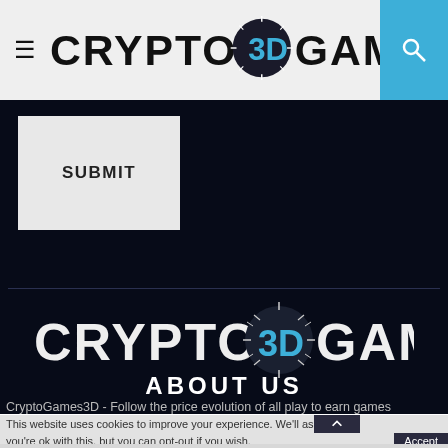[Figure (logo): Crypto3DGames logo in header — stylized text CRYPTO with 3D sphere and GAMES]
SUBMIT
[Figure (logo): Crypto3DGames logo centered in dark section]
ABOUT US
CryptoGames3D - Follow the price evolution of all play to earn games
This website uses cookies to improve your experience. We'll as you're ok with this, but you can opt-out if you wish.
Read More